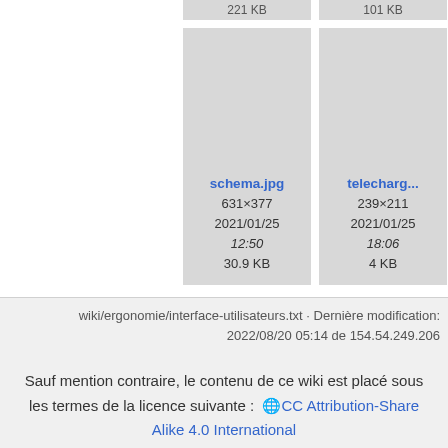[Figure (screenshot): File browser cards showing image thumbnails: schema.jpg (631×377, 2021/01/25 12:50, 30.9 KB), telecharg... (239×211, 2021/01/25 18:06, 4 KB), and a partially visible third card (uk...).]
wiki/ergonomie/interface-utilisateurs.txt · Dernière modification: 2022/08/20 05:14 de 154.54.249.206
Sauf mention contraire, le contenu de ce wiki est placé sous les termes de la licence suivante : 🌐 CC Attribution-Share Alike 4.0 International